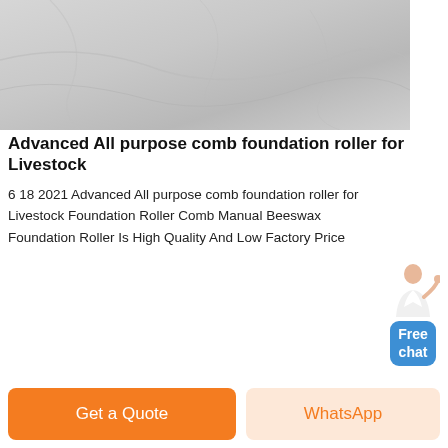[Figure (photo): Gray marble or concrete surface texture, top portion of page]
Advanced All purpose comb foundation roller for Livestock
6 18 2021 Advanced All purpose comb foundation roller for Livestock Foundation Roller Comb Manual Beeswax Foundation Roller Is High Quality And Low Factory Price
[Figure (photo): Industrial machinery with large grey metal pipes, tanks, and blue steel structure against blue sky]
[Figure (illustration): Free chat widget with person illustration and blue button]
Get a Quote
WhatsApp